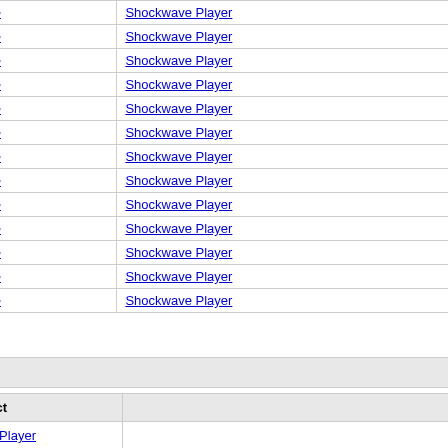| # | Type | Vendor | Product | Version |
| --- | --- | --- | --- | --- |
| 31 | Application | Adobe | Shockwave Player | 10.2.0... |
| 32 | Application | Adobe | Shockwave Player | 10.2.0... |
| 33 | Application | Adobe | Shockwave Player | 10.2.0... |
| 34 | Application | Adobe | Shockwave Player | 11.0.0... |
| 35 | Application | Adobe | Shockwave Player | 11.0.3... |
| 36 | Application | Adobe | Shockwave Player | 11.5.0... |
| 37 | Application | Adobe | Shockwave Player | 11.5.0... |
| 38 | Application | Adobe | Shockwave Player | 11.5.1... |
| 39 | Application | Adobe | Shockwave Player | 11.5.2... |
| 40 | Application | Adobe | Shockwave Player | 11.5.6... |
| 41 | Application | Adobe | Shockwave Player | 11.5.7... |
| 42 | Application | Adobe | Shockwave Player | 11.5.8... |
| 43 | Application | Adobe | Shockwave Player | 11.5.9... |
- Number Of Affected Versions By Product
| Vendor | Product |
| --- | --- |
| Adobe | Shockwave Player |
- References For CVE-2011-2123
http://www.us-cert.gov/cas/techalerts/TA11-166A.html